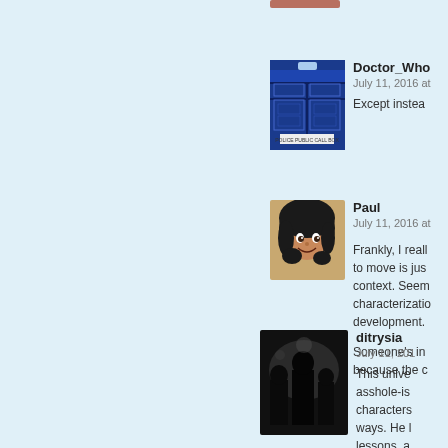[Figure (photo): Partial user avatar image visible at the top center of the page, cropped]
Doctor_Who
July 11, 2016 at
Except instea
[Figure (illustration): TARDIS (blue police box) avatar for Doctor_Who user]
Paul
July 11, 2016 at
Frankly, I reall to move is jus context. Seem characterizatio development.

Someone's in because the c
[Figure (illustration): Animated cartoon girl with dark curly hair avatar for Paul user]
ditrysia
July 11, 201
This unive asshole-is characters ways. He l lessons, a a brand of
[Figure (photo): Dark silhouette photo avatar for ditrysia user]